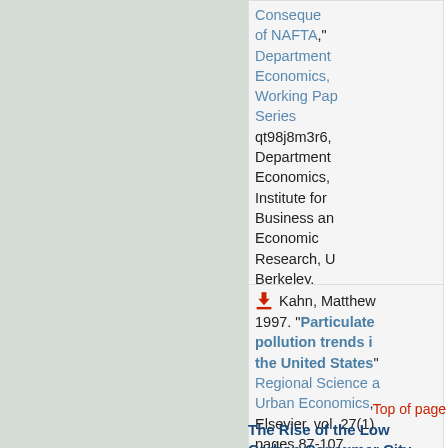Consequences of NAFTA," Department of Economics, Working Paper Series qt98j8m3r6, Department of Economics, Institute for Business and Economic Research, UC Berkeley.
Kahn, Matthew. 1997. "Particulate pollution trends in the United States" Regional Science and Urban Economics, Elsevier, vol. 27(1), pages 87-107, February.
Top of page
The Rise of the Low Carbon Consumer City